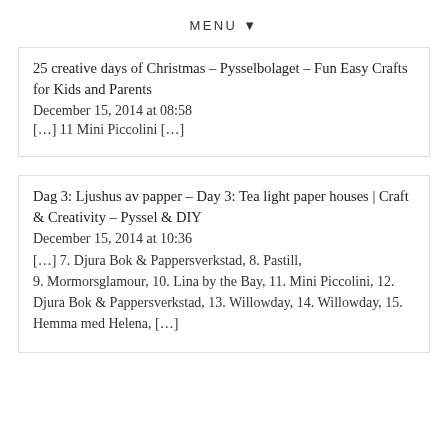MENU ▼
25 creative days of Christmas – Pysselbolaget – Fun Easy Crafts for Kids and Parents
December 15, 2014 at 08:58
[…] 11 Mini Piccolini […]
Dag 3: Ljushus av papper – Day 3: Tea light paper houses | Craft & Creativity – Pyssel & DIY
December 15, 2014 at 10:36
[…] 7. Djura Bok & Pappersverkstad, 8. Pastill, 9. Mormorsglamour, 10. Lina by the Bay, 11. Mini Piccolini, 12. Djura Bok & Pappersverkstad, 13. Willowday, 14. Willowday, 15. Hemma med Helena, […]